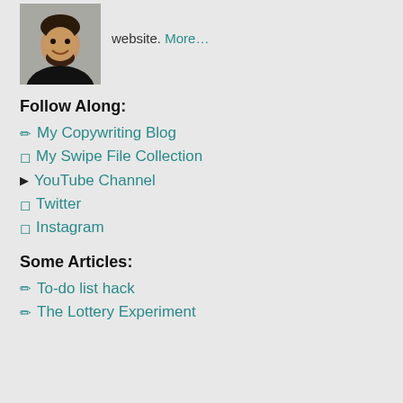[Figure (photo): Headshot photo of a man with a beard wearing a black shirt, against a gray background]
website. More…
Follow Along:
✏ My Copywriting Blog
⬛ My Swipe File Collection
▶ YouTube Channel
⬛ Twitter
⬛ Instagram
Some Articles:
✏ To-do list hack
✏ The Lottery Experiment